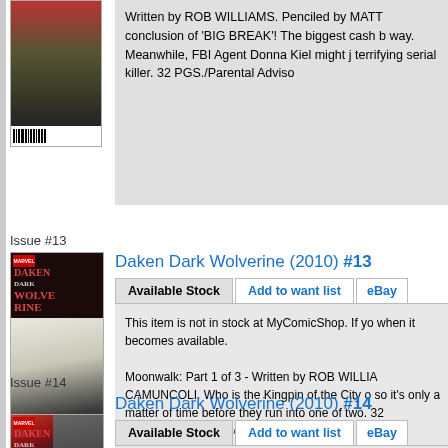[Figure (photo): Partial comic book cover visible at top left]
Written by ROB WILLIAMS. Penciled by MATT conclusion of 'BIG BREAK'! The biggest cash b way. Meanwhile, FBI Agent Donna Kiel might j terrifying serial killer. 32 PGS./Parental Adviso
Issue #13
[Figure (photo): Daken Dark Wolverine #13 comic book cover featuring Moon Knight]
Daken Dark Wolverine (2010) #13
Available Stock
Add to want list
eBay
This item is not in stock at MyComicShop. If yo when it becomes available.
Moonwalk: Part 1 of 3 - Written by ROB WILLIA CAMUNCOLI. Who is the Kingpin of the City o so it's only a matter of time before they run into one of two. 32 PGS./Parental Advisory ...$2.99
Issue #14
[Figure (photo): Daken Dark Wolverine #14 comic book cover (partial)]
Daken Dark Wolverine (2010) #14
Available Stock
Add to want list
eBay